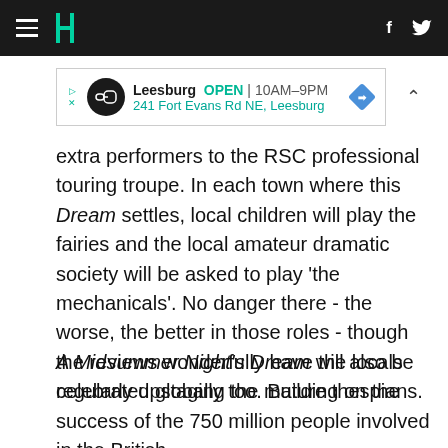HuffPost navigation bar with hamburger menu, logo, Facebook and Twitter icons
[Figure (other): Advertisement banner for Leesburg store: OPEN 10AM-9PM, 241 Fort Evans Rd NE, Leesburg]
extra performers to the RSC professional touring troupe. In each town where this Dream settles, local children will play the fairies and the local amateur dramatic society will be asked to play 'the mechanicals'. No danger there - the worse, the better in those roles - though the reviews wonderfully have the locals regularly upstaging the mature thespians.
A Midsummer Night's Dream will also be celebrated globally too. Building on the success of the 750 million people involved in the British